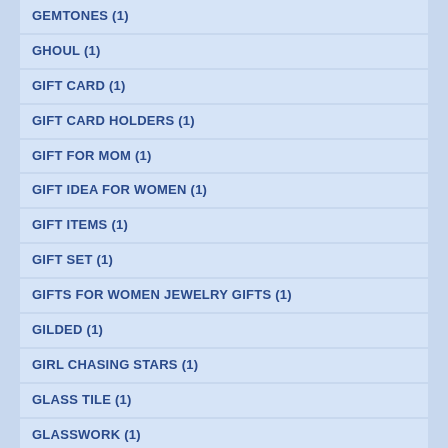GEMTONES (1)
GHOUL (1)
GIFT CARD (1)
GIFT CARD HOLDERS (1)
GIFT FOR MOM (1)
GIFT IDEA FOR WOMEN (1)
GIFT ITEMS (1)
GIFT SET (1)
GIFTS FOR WOMEN JEWELRY GIFTS (1)
GILDED (1)
GIRL CHASING STARS (1)
GLASS TILE (1)
GLASSWORK (1)
GLITTER (1)
GLOBE (1)
GOGO (1)
GOLDEN CHAIN TREE (1)
GOLDEN TIGERS EYE (1)